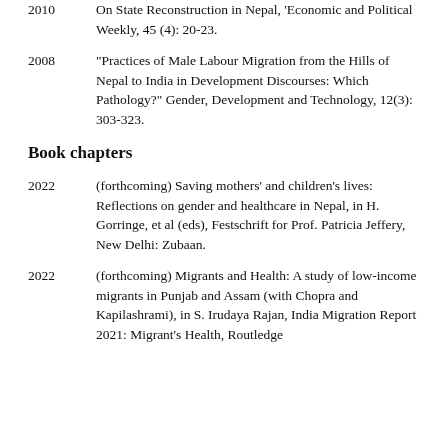2010    On State Reconstruction in Nepal, 'Economic and Political Weekly, 45 (4): 20-23.
2008    "Practices of Male Labour Migration from the Hills of Nepal to India in Development Discourses: Which Pathology?" Gender, Development and Technology, 12(3): 303-323.
Book chapters
2022    (forthcoming) Saving mothers' and children's lives: Reflections on gender and healthcare in Nepal, in H. Gorringe, et al (eds), Festschrift for Prof. Patricia Jeffery, New Delhi: Zubaan.
2022    (forthcoming) Migrants and Health: A study of low-income migrants in Punjab and Assam (with Chopra and Kapilashrami), in S. Irudaya Rajan, India Migration Report 2021: Migrant's Health, Routledge